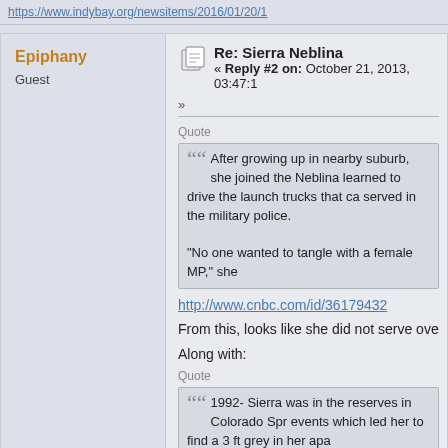https://www.indybay.org/newsitems/2016/01/20/1
Epiphany
Guest
Re: Sierra Neblina
« Reply #2 on: October 21, 2013, 03:47:1
»
Quote
After growing up in nearby suburb, she joined the Neblina learned to drive the launch trucks that ca served in the military police.

"No one wanted to tangle with a female MP," she
http://www.cnbc.com/id/36179432
From this, looks like she did not serve ove
Along with:
Quote
1992- Sierra was in the reserves in Colorado Spr events which led her to find a 3 ft grey in her apa